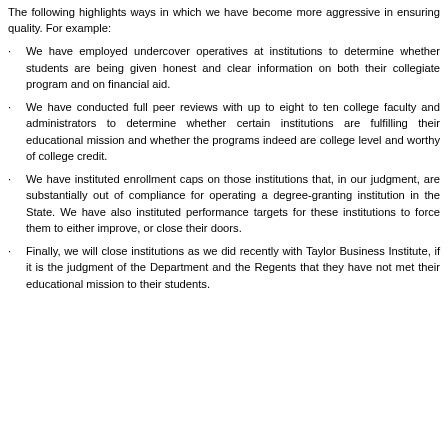The following highlights ways in which we have become more aggressive in ensuring quality. For example:
We have employed undercover operatives at institutions to determine whether students are being given honest and clear information on both their collegiate program and on financial aid.
We have conducted full peer reviews with up to eight to ten college faculty and administrators to determine whether certain institutions are fulfilling their educational mission and whether the programs indeed are college level and worthy of college credit.
We have instituted enrollment caps on those institutions that, in our judgment, are substantially out of compliance for operating a degree-granting institution in the State. We have also instituted performance targets for these institutions to force them to either improve, or close their doors.
Finally, we will close institutions as we did recently with Taylor Business Institute, if it is the judgment of the Department and the Regents that they have not met their educational mission to their students.